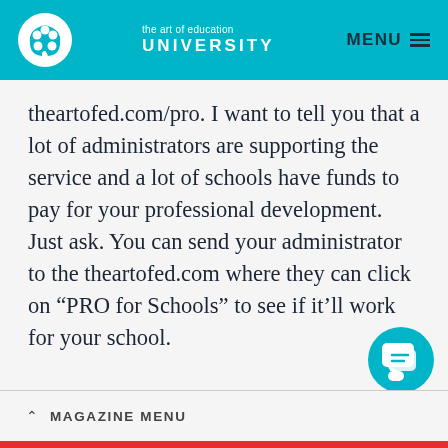the art of education UNIVERSITY | MENU
theartofed.com/pro. I want to tell you that a lot of administrators are supporting the service and a lot of schools have funds to pay for your professional development. Just ask. You can send your administrator to the theartofed.com where they can click on “PRO for Schools” to see if it’ll work for your school.
MAGAZINE MENU